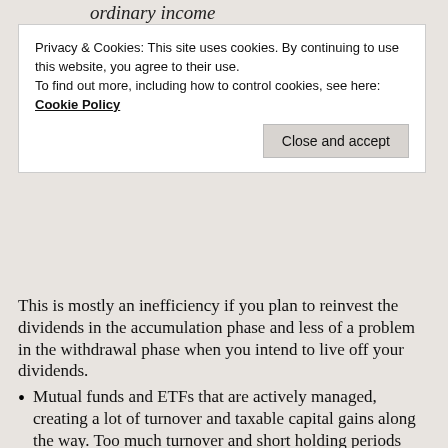ordinary income
Privacy & Cookies: This site uses cookies. By continuing to use this website, you agree to their use.
To find out more, including how to control cookies, see here: Cookie Policy
This is mostly an inefficiency if you plan to reinvest the dividends in the accumulation phase and less of a problem in the withdrawal phase when you intend to live off your dividends.
Mutual funds and ETFs that are actively managed, creating a lot of turnover and taxable capital gains along the way. Too much turnover and short holding periods may also create a higher portion of your dividend income falling into the non-qualified category.
Target Date Funds, even if they are based on index funds (e.g., the Fidelity Freedom Index or Vanguard class of TDFs). Not only will they hold